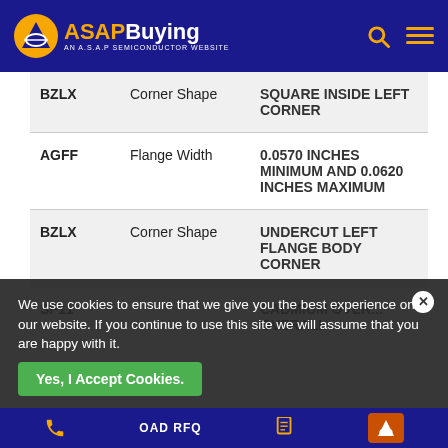ASAPBuying - AN A.S.A.P SEMICONDUCTOR WEBSITE
| Code | Property | Value |
| --- | --- | --- |
| BZLX | Corner Shape | SQUARE INSIDE LEFT CORNER |
| AGFF | Flange Width | 0.0570 INCHES MINIMUM AND 0.0620 INCHES MAXIMUM |
| BZLX | Corner Shape | UNDERCUT LEFT FLANGE BODY CORNER |
| SF11 |  | CADMIUM OVER... OVERALL |
We use cookies to ensure that we give you the best experience on our website. If you continue to use this site we will assume that you are happy with it.
Yes, I Accept Cookies. | OAD RFQ